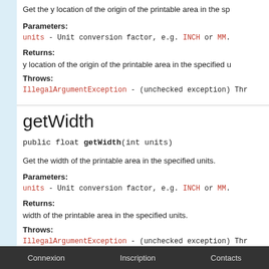Get the y location of the origin of the printable area in the sp
Parameters:
units - Unit conversion factor, e.g. INCH or MM.
Returns:
y location of the origin of the printable area in the specified u
Throws:
IllegalArgumentException - (unchecked exception) Thr
getWidth
public float getWidth(int units)
Get the width of the printable area in the specified units.
Parameters:
units - Unit conversion factor, e.g. INCH or MM.
Returns:
width of the printable area in the specified units.
Throws:
IllegalArgumentException - (unchecked exception) Thr
Connexion   Inscription   Contacts